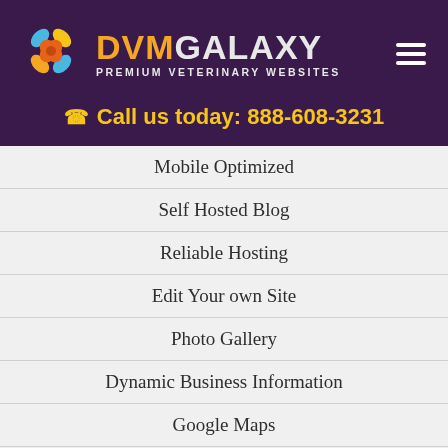[Figure (logo): DVMGalaxy logo with colorful flower/butterfly icon and text 'DVMGALAXY PREMIUM VETERINARY WEBSITES']
Call us today: 888-608-3231
Mobile Optimized
Self Hosted Blog
Reliable Hosting
Edit Your own Site
Photo Gallery
Dynamic Business Information
Google Maps
Accessibility Features
Social Media Integration